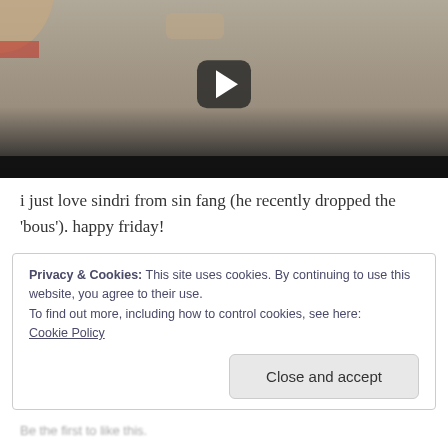[Figure (screenshot): Video thumbnail showing a man's face with hands around him, with a play button overlay in the center top area. Dark control bar at bottom.]
i just love sindri from sin fang (he recently dropped the 'bous'). happy friday!
Privacy & Cookies: This site uses cookies. By continuing to use this website, you agree to their use.
To find out more, including how to control cookies, see here:
Cookie Policy
[Close and accept button]
Be the first to like this.
Posted in bands, iceland  /  2 Comments